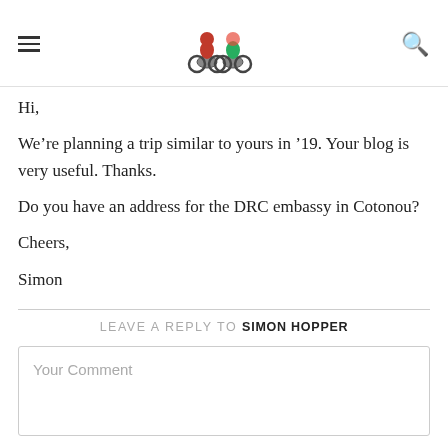[hamburger menu] [motorcycles logo illustration] [search icon]
Hi,

We're planning a trip similar to yours in '19. Your blog is very useful. Thanks.

Do you have an address for the DRC embassy in Cotonou?

Cheers,

Simon
LEAVE A REPLY TO SIMON HOPPER
Your Comment